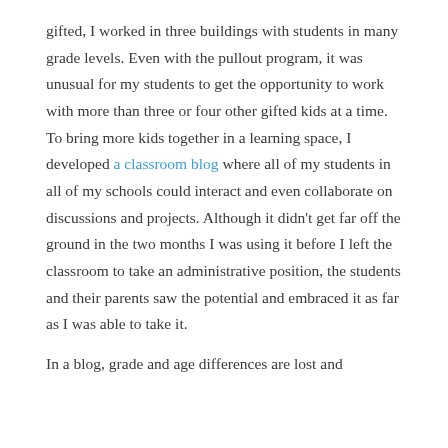gifted, I worked in three buildings with students in many grade levels. Even with the pullout program, it was unusual for my students to get the opportunity to work with more than three or four other gifted kids at a time. To bring more kids together in a learning space, I developed a classroom blog where all of my students in all of my schools could interact and even collaborate on discussions and projects. Although it didn't get far off the ground in the two months I was using it before I left the classroom to take an administrative position, the students and their parents saw the potential and embraced it as far as I was able to take it.
In a blog, grade and age differences are lost and